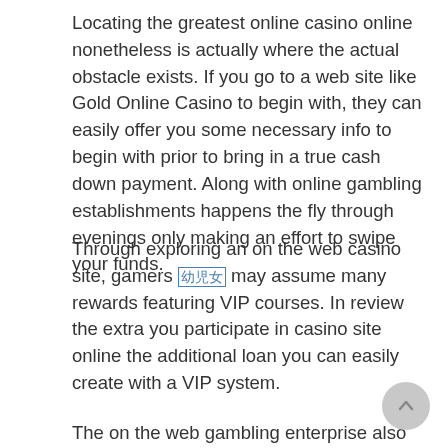Locating the greatest online casino online nonetheless is actually where the actual obstacle exists. If you go to a web site like Gold Online Casino to begin with, they can easily offer you some necessary info to begin with prior to bring in a true cash down payment. Along with online gambling establishments happens the fly through evenings only making an effort to swipe your funds.
Through exploring an on the web casino site, gamers [link] may assume many rewards featuring VIP courses. In review the extra you participate in casino site online the additional loan you can easily create with a VIP system.
The on the web gambling enterprise also